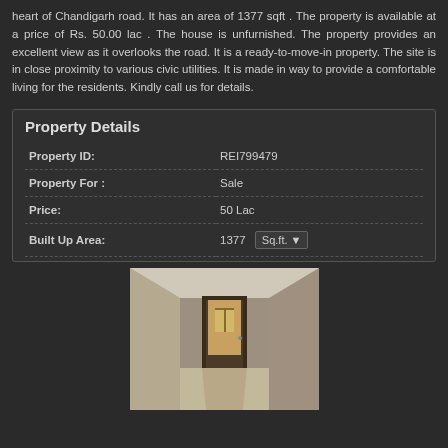heart of Chandigarh road. It has an area of 1377 sqft . The property is available at a price of Rs. 50.00 lac . The house is unfurnished. The property provides an excellent view as it overlooks the road. It is a ready-to-move-in property. The site is in close proximity to various civic utilities. It is made in way to provide a comfortable living for the residents. Kindly call us for details.
|  |  |
| --- | --- |
| Property ID: | REI799479 |
| Property For : | Sale |
| Price: | 50 Lac |
| Built Up Area: | 1377   Sq.ft. ▼ |
[Figure (photo): Interior photo of an empty room with a doorway/corridor visible, plain walls, and a window at the end of the corridor. The room appears unfurnished with beige/cream colored walls and floor.]